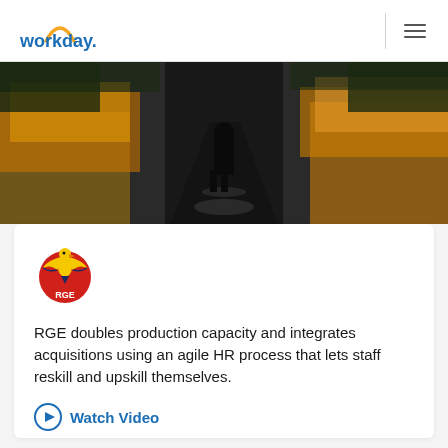workday.
[Figure (photo): A person walking away on a reflective path flanked by colorful autumn flowers and dark foliage.]
[Figure (logo): RGE logo: golden eagle on red circle with 'RGE' text in white.]
RGE doubles production capacity and integrates acquisitions using an agile HR process that lets staff reskill and upskill themselves.
Watch Video